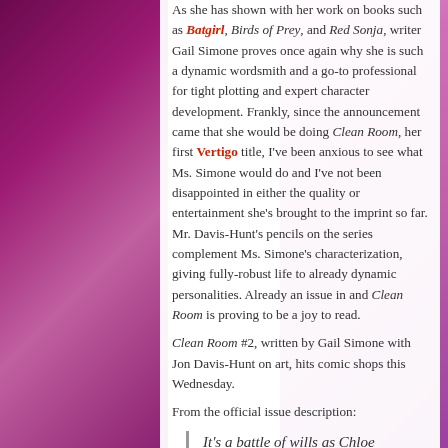As she has shown with her work on books such as Batgirl, Birds of Prey, and Red Sonja, writer Gail Simone proves once again why she is such a dynamic wordsmith and a go-to professional for tight plotting and expert character development. Frankly, since the announcement came that she would be doing Clean Room, her first Vertigo title, I've been anxious to see what Ms. Simone would do and I've not been disappointed in either the quality or entertainment she's brought to the imprint so far. Mr. Davis-Hunt's pencils on the series complement Ms. Simone's characterization, giving fully-robust life to already dynamic personalities. Already an issue in and Clean Room is proving to be a joy to read.
Clean Room #2, written by Gail Simone with Jon Davis-Hunt on art, hits comic shops this Wednesday.
From the official issue description:
It's a battle of wills as Chloe